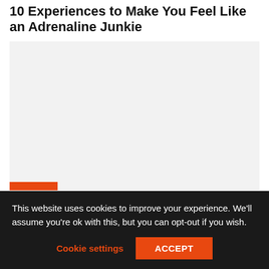10 Experiences to Make You Feel Like an Adrenaline Junkie
[Figure (photo): Large image placeholder area with light gray background and an orange bar visible at the bottom left corner]
This website uses cookies to improve your experience. We'll assume you're ok with this, but you can opt-out if you wish.
Cookie settings   ACCEPT